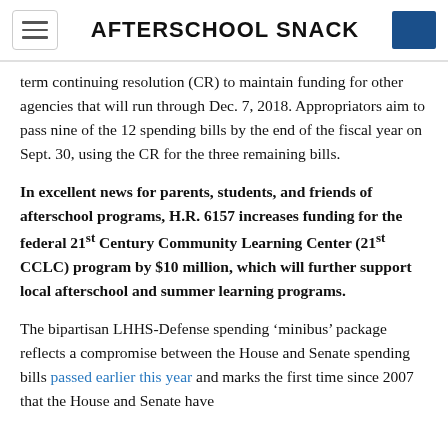AFTERSCHOOL SNACK
term continuing resolution (CR) to maintain funding for other agencies that will run through Dec. 7, 2018. Appropriators aim to pass nine of the 12 spending bills by the end of the fiscal year on Sept. 30, using the CR for the three remaining bills.
In excellent news for parents, students, and friends of afterschool programs, H.R. 6157 increases funding for the federal 21st Century Community Learning Center (21st CCLC) program by $10 million, which will further support local afterschool and summer learning programs.
The bipartisan LHHS-Defense spending ‘minibus’ package reflects a compromise between the House and Senate spending bills passed earlier this year and marks the first time since 2007 that the House and Senate have